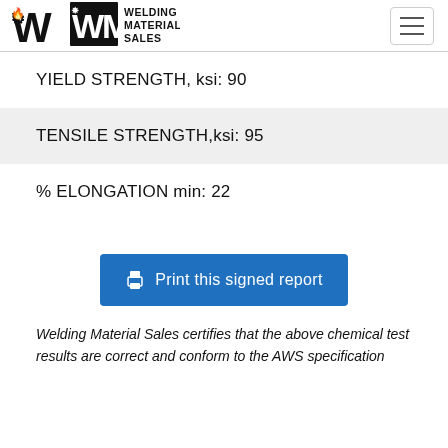WELDING MATERIAL SALES
YIELD STRENGTH, ksi: 90
TENSILE STRENGTH,ksi: 95
% ELONGATION min: 22
Print this signed report
Welding Material Sales certifies that the above chemical test results are correct and conform to the AWS specification